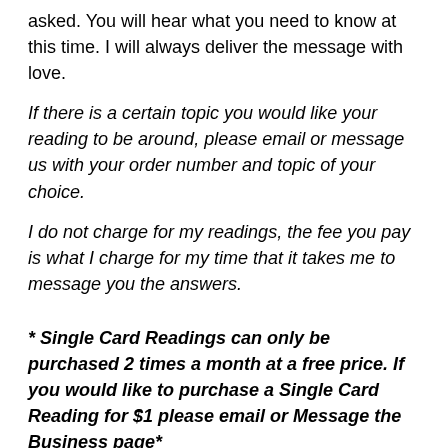asked. You will hear what you need to know at this time. I will always deliver the message with love.
If there is a certain topic you would like your reading to be around, please email or message us with your order number and topic of your choice.
I do not charge for my readings, the fee you pay is what I charge for my time that it takes me to message you the answers.
* Single Card Readings can only be purchased 2 times a month at a free price. If you would like to purchase a Single Card Reading for $1 please email or Message the Business page*
(Per guidelines, I must state this is for entertainment